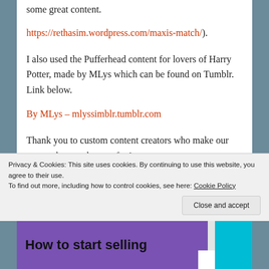some great content.
https://rethasim.wordpress.com/maxis-match/).
I also used the Pufferhead content for lovers of Harry Potter, made by MLys which can be found on Tumblr. Link below.
By MLys – mlyssimblr.tumblr.com
Thank you to custom content creators who make our games that much more fun!
Advertisements
[Figure (logo): WooCommerce advertisement banner with purple background and white WooCommerce logo text]
Privacy & Cookies: This site uses cookies. By continuing to use this website, you agree to their use. To find out more, including how to control cookies, see here: Cookie Policy
[Figure (logo): WooCommerce How to start selling advertisement banner bottom strip]